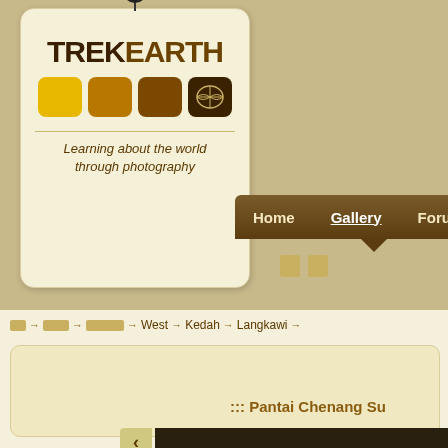[Figure (logo): TrekEarth logo tag with string/ring at top, TREKEARTH bold text, four colored squares (yellow, golden-brown, dark brown, darkest brown with world map icon), horizontal rule, tagline 'Learning about the world through photography']
Home  Gallery  Forums  C
□ □
□→  □□→  □□□□□→  West→  Kedah→  Langkawi→
::: Pantai Chenang Su